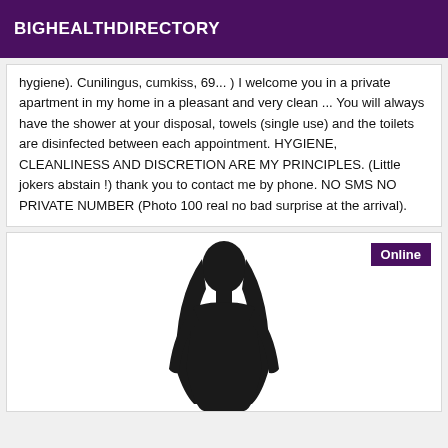BIGHEALTHDIRECTORY
hygiene). Cunilingus, cumkiss, 69... ) I welcome you in a private apartment in my home in a pleasant and very clean ... You will always have the shower at your disposal, towels (single use) and the toilets are disinfected between each appointment. HYGIENE, CLEANLINESS AND DISCRETION ARE MY PRINCIPLES. (Little jokers abstain !) thank you to contact me by phone. NO SMS NO PRIVATE NUMBER (Photo 100 real no bad surprise at the arrival).
[Figure (illustration): Silhouette of a person with long hair against a white background, with an 'Online' badge in the top right corner]